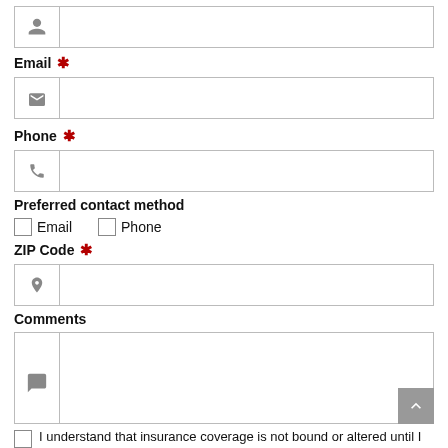[Figure (other): Name input field with person icon]
Email ★
[Figure (other): Email input field with envelope icon]
Phone ★
[Figure (other): Phone input field with phone icon]
Preferred contact method
Email
Phone
ZIP Code ★
[Figure (other): ZIP Code input field with location pin icon]
Comments
[Figure (other): Comments textarea with speech bubble icon]
I understand that insurance coverage is not bound or altered until I